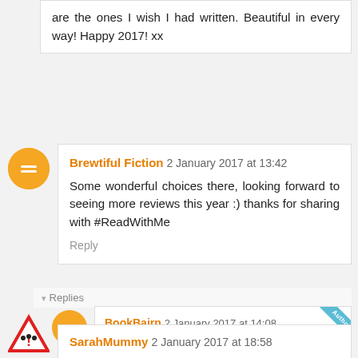are the ones I wish I had written. Beautiful in every way! Happy 2017! xx
Brewtiful Fiction 2 January 2017 at 13:42
Some wonderful choices there, looking forward to seeing more reviews this year :) thanks for sharing with #ReadWithMe
Reply
Replies
BookBairn 2 January 2017 at 14:08 Author
Thanks Chantelle! Looking forward to reading yours too! xx
SarahMummy 2 January 2017 at 18:58